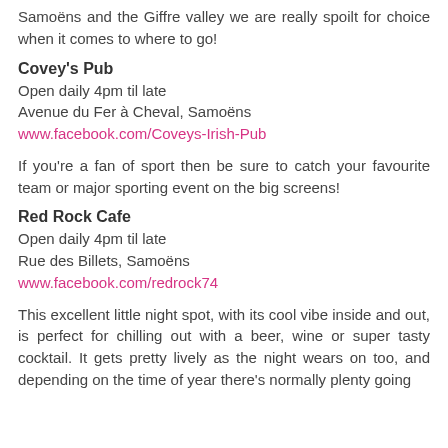Samoëns and the Giffre valley we are really spoilt for choice when it comes to where to go!
Covey's Pub
Open daily 4pm til late
Avenue du Fer à Cheval, Samoëns
www.facebook.com/Coveys-Irish-Pub
If you're a fan of sport then be sure to catch your favourite team or major sporting event on the big screens!
Red Rock Cafe
Open daily 4pm til late
Rue des Billets, Samoëns
www.facebook.com/redrock74
This excellent little night spot, with its cool vibe inside and out, is perfect for chilling out with a beer, wine or super tasty cocktail. It gets pretty lively as the night wears on too, and depending on the time of year there's normally plenty going